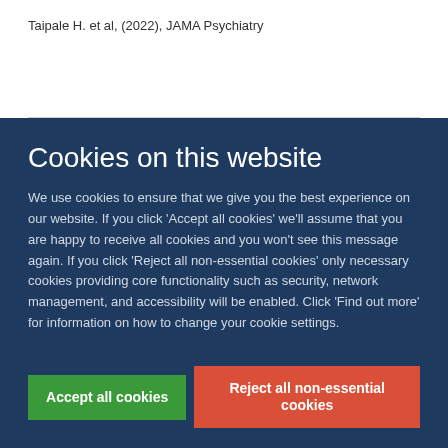Taipale H. et al, (2022), JAMA Psychiatry
Cookies on this website
We use cookies to ensure that we give you the best experience on our website. If you click 'Accept all cookies' we'll assume that you are happy to receive all cookies and you won't see this message again. If you click 'Reject all non-essential cookies' only necessary cookies providing core functionality such as security, network management, and accessibility will be enabled. Click 'Find out more' for information on how to change your cookie settings.
Accept all cookies
Reject all non-essential cookies